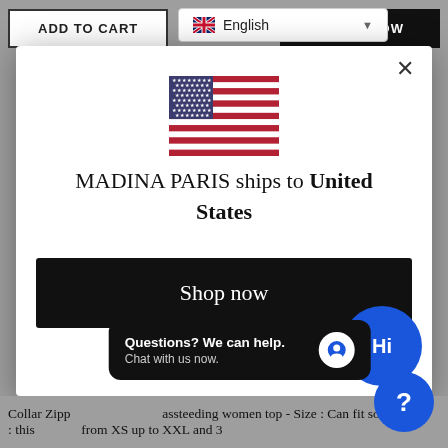[Figure (screenshot): Background e-commerce page with ADD TO CART button, BUY IT NOW button, and English language selector]
[Figure (illustration): US flag SVG illustration]
MADINA PARIS ships to United States
Shop in GBP £
Get shipping options for United States
Shop now
Questions? We can help. Chat with us now.
Collar Zipp : this assteeding women top - Size : Can fit someone from XS up to XXL and 3